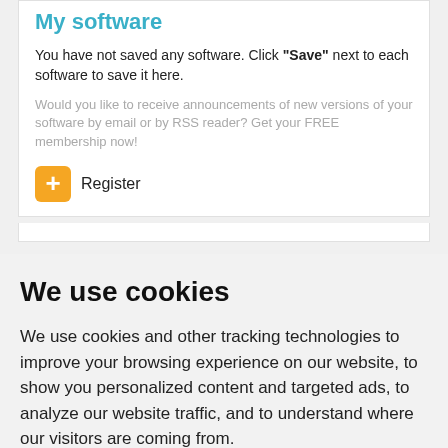My software
You have not saved any software. Click "Save" next to each software to save it here.
Would you like to receive announcements of new versions of your software by email or by RSS reader? Get your FREE membership now!
Register
We use cookies
We use cookies and other tracking technologies to improve your browsing experience on our website, to show you personalized content and targeted ads, to analyze our website traffic, and to understand where our visitors are coming from.
I agree   Change my preferences